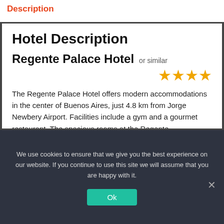Description
Hotel Description
Regente Palace Hotel or similar
[Figure (other): Four gold/yellow star rating icons]
The Regente Palace Hotel offers modern accommodations in the center of Buenos Aires, just 4.8 km from Jorge Newbery Airport. Facilities include a gym and a gourmet restaurant. The spacious rooms at the Regente
We use cookies to ensure that we give you the best experience on our website. If you continue to use this site we will assume that you are happy with it.